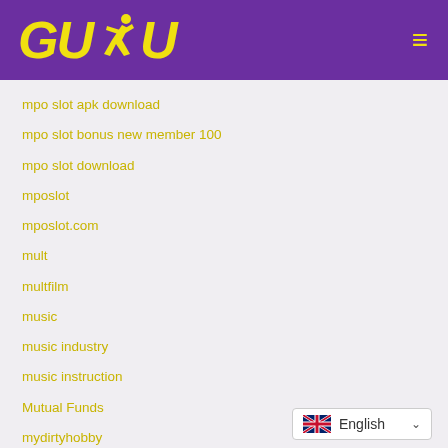[Figure (logo): GUDU logo with yellow text and running figure silhouette on purple background, with hamburger menu icon on right]
mpo slot apk download
mpo slot bonus new member 100
mpo slot download
mposlot
mposlot.com
mult
multfilm
music
music industry
music instruction
Mutual Funds
mydirtyhobby
[Figure (other): Language selector dropdown showing UK flag and 'English' text with chevron arrow]